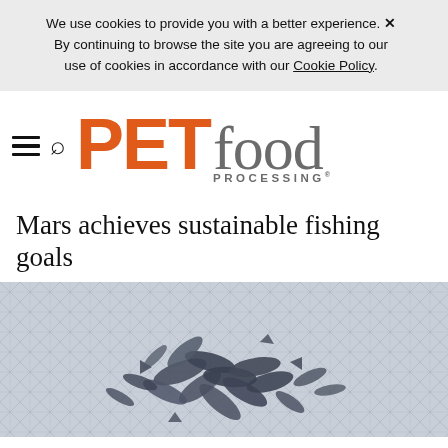We use cookies to provide you with a better experience. × By continuing to browse the site you are agreeing to our use of cookies in accordance with our Cookie Policy.
[Figure (logo): PET food PROCESSING® logo with hamburger menu and search icon]
Mars achieves sustainable fishing goals
[Figure (photo): Fish caught in a fishing net, blue/grey small fish piled on a net]